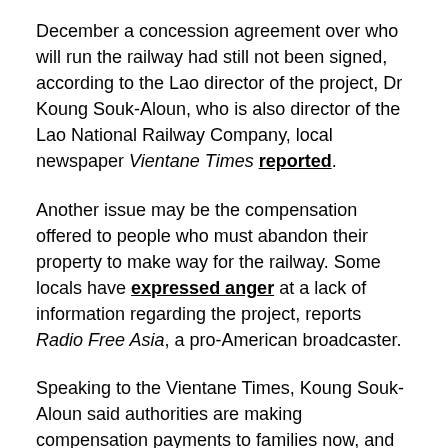December a concession agreement over who will run the railway had still not been signed, according to the Lao director of the project, Dr Koung Souk-Aloun, who is also director of the Lao National Railway Company, local newspaper Vientane Times reported.
Another issue may be the compensation offered to people who must abandon their property to make way for the railway. Some locals have expressed anger at a lack of information regarding the project, reports Radio Free Asia, a pro-American broadcaster.
Speaking to the Vientane Times, Koung Souk-Aloun said authorities are making compensation payments to families now, and that progress on this has been made in Vientane province.